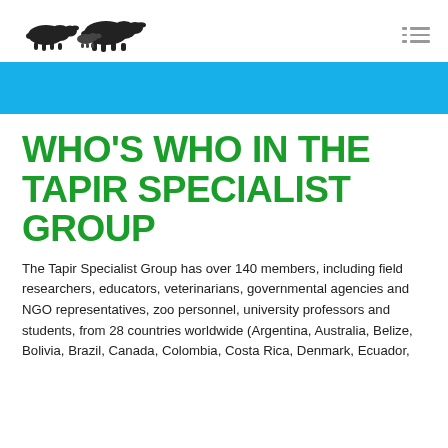TAPIR SPECIALIST GROUP
[Figure (logo): Tapir Specialist Group logo with silhouettes of tapirs and text 'TAPIR SPECIALIST GROUP']
WHO'S WHO IN THE TAPIR SPECIALIST GROUP
The Tapir Specialist Group has over 140 members, including field researchers, educators, veterinarians, governmental agencies and NGO representatives, zoo personnel, university professors and students, from 28 countries worldwide (Argentina, Australia, Belize, Bolivia, Brazil, Canada, Colombia, Costa Rica, Denmark, Ecuador,